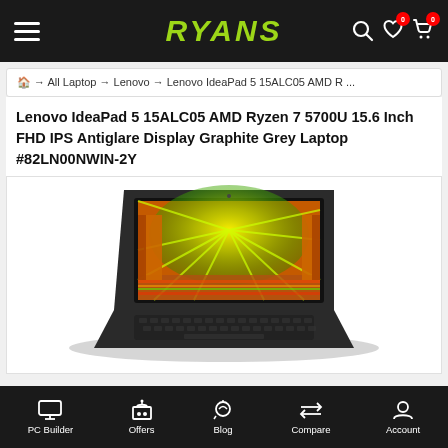RYANS
All Laptop → Lenovo → Lenovo IdeaPad 5 15ALC05 AMD R ...
Lenovo IdeaPad 5 15ALC05 AMD Ryzen 7 5700U 15.6 Inch FHD IPS Antiglare Display Graphite Grey Laptop #82LN00NWIN-2Y
[Figure (photo): Lenovo IdeaPad 5 laptop open at an angle showing keyboard and a display with a colorful metro station image]
PC Builder  Offers  Blog  Compare  Account